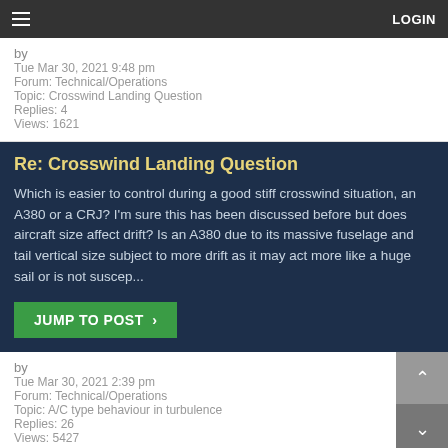LOGIN
by
Tue Mar 30, 2021 9:48 pm
Forum: Technical/Operations
Topic: Crosswind Landing Question
Replies: 4
Views: 1621
Re: Crosswind Landing Question
Which is easier to control during a good stiff crosswind situation, an A380 or a CRJ? I'm sure this has been discussed before but does aircraft size affect drift? Is an A380 due to its massive fuselage and tail vertical size subject to more drift as it may act more like a huge sail or is not suscep...
JUMP TO POST ›
by
Tue Mar 30, 2021 2:39 pm
Forum: Technical/Operations
Topic: A/C type behaviour in turbulence
Replies: 26
Views: 5427
Re: A/C type behaviour in turbulence